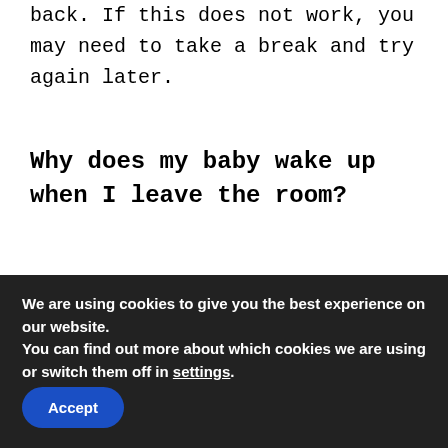back. If this does not work, you may need to take a break and try again later.
Why does my baby wake up when I leave the room?
This is a common question that parents ask. It is normal for babies to wake up when they hear their parents voice or see them leave the room. They are trying to get your attention and want you to come back in.
We are using cookies to give you the best experience on our website.
You can find out more about which cookies we are using or switch them off in settings.
Accept